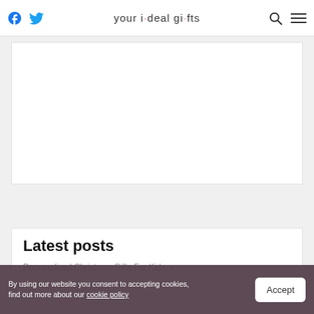your ideal gifts
[Figure (other): Empty white advertisement placeholder area]
Latest posts
Personalised Christmas Gifts For Kids
Personalised Stocking Fillers
By using our website you consent to accepting cookies, find out more about our cookie policy